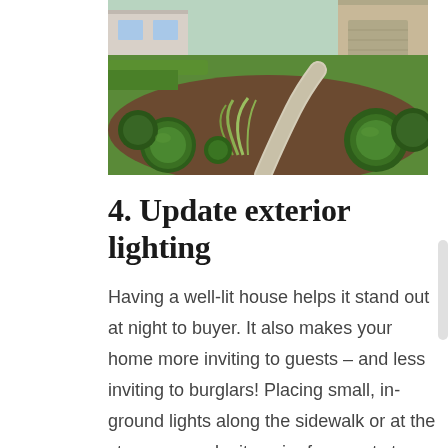[Figure (photo): Landscaped front yard of a house with trimmed round bushes, ornamental grasses, mulched garden beds, and a curved concrete walkway leading to the front door.]
4. Update exterior lighting
Having a well-lit house helps it stand out at night to buyer. It also makes your home more inviting to guests – and less inviting to burglars! Placing small, in-ground lights along the sidewalk or at the steps can make it easier for guests to walk from their car to the front door. Keeping lights on by the front door or on